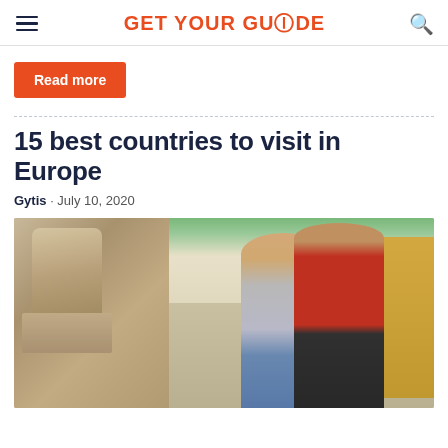GET YOUR GUIDE
Read more
15 best countries to visit in Europe
Gytis · July 10, 2020
[Figure (photo): A couple walking hand-in-hand on a cobblestone street in Europe, with ancient stone sculptures on the left and colorful Mediterranean buildings on the right.]